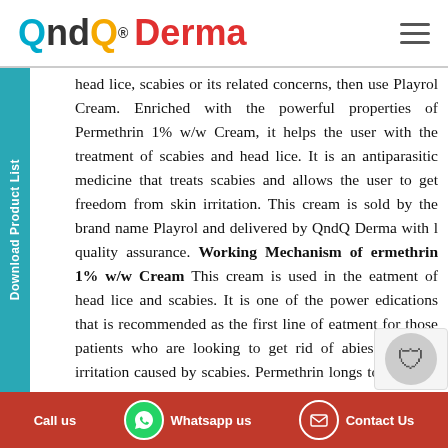QndQ Derma
head lice, scabies or its related concerns, then use Playrol Cream. Enriched with the powerful properties of Permethrin 1% w/w Cream, it helps the user with the treatment of scabies and head lice. It is an antiparasitic medicine that treats scabies and allows the user to get freedom from skin irritation. This cream is sold by the brand name Playrol and delivered by QndQ Derma with l quality assurance. Working Mechanism of ermethrin 1% w/w Cream This cream is used in the eatment of head lice and scabies. It is one of the power edications that is recommended as the first line of eatment for those patients who are looking to get rid of abies and skin irritation caused by scabies. Permethrin longs to the class of antiparasitic medicine. This cream orks by destroying the mites (tiny insects) and their eggs at cause scabies. Further, it kills the head lice that
Call us  Whatsapp us  Contact Us